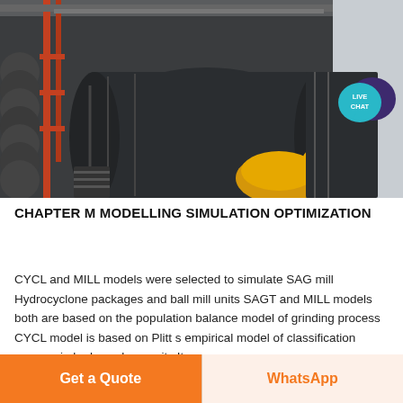[Figure (photo): Industrial SAG mill / ball mill grinding equipment in a plant facility, showing large cylindrical mill, yellow motor coupling, and structural steel framework]
[Figure (illustration): Live Chat speech bubble icon in teal/cyan with dark purple chat bubble overlay, text LIVE CHAT]
CHAPTER M MODELLING SIMULATION OPTIMIZATION
CYCL and MILL models were selected to simulate SAG mill Hydrocyclone packages and ball mill units SAGT and MILL models both are based on the population balance model of grinding process CYCL model is based on Plitt s empirical model of classification process in hydrocyclone units It ...
Get a Quote
WhatsApp